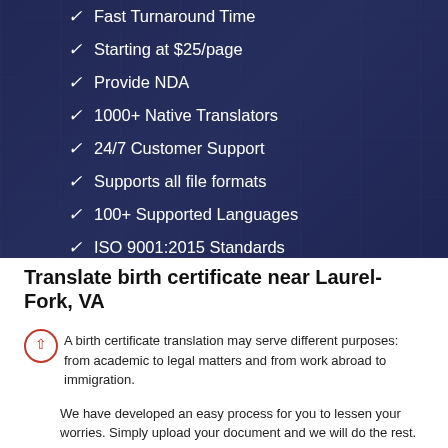✓ Fast Turnaround Time
✓ Starting at $25/page
✓ Provide NDA
✓ 1000+ Native Translators
✓ 24/7 Customer Support
✓ Supports all file formats
✓ 100+ Supported Languages
✓ ISO 9001:2015 Standards
Translate birth certificate near Laurel-Fork, VA
A birth certificate translation may serve different purposes: from academic to legal matters and from work abroad to immigration.
We have developed an easy process for you to lessen your worries. Simply upload your document and we will do the rest.
You may contact our 24/7 customer support for your concerns and we